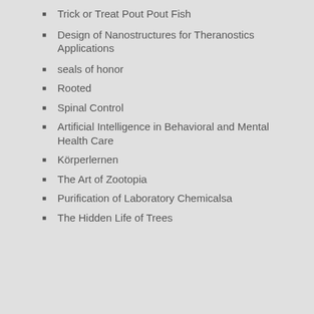Trick or Treat Pout Pout Fish
Design of Nanostructures for Theranostics Applications
seals of honor
Rooted
Spinal Control
Artificial Intelligence in Behavioral and Mental Health Care
Körperlernen
The Art of Zootopia
Purification of Laboratory Chemicalsa
The Hidden Life of Trees